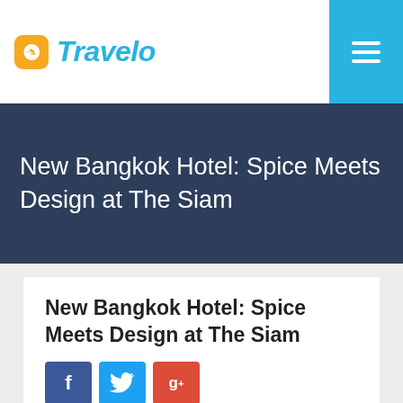Travelo
New Bangkok Hotel: Spice Meets Design at The Siam
New Bangkok Hotel: Spice Meets Design at The Siam
[Figure (other): Social share buttons: Facebook (f), Twitter bird, Google+ (g+)]
The Siam: New Hotel in Bangkok